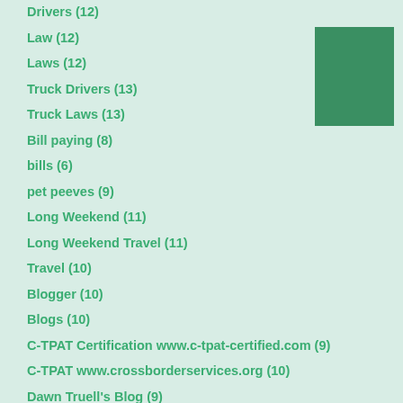Drivers (12)
Law (12)
Laws (12)
Truck Drivers (13)
Truck Laws (13)
Bill paying (8)
bills (6)
pet peeves (9)
Long Weekend (11)
Long Weekend Travel (11)
Travel (10)
Blogger (10)
Blogs (10)
C-TPAT Certification www.c-tpat-certified.com (9)
C-TPAT www.crossborderservices.org (10)
Dawn Truell's Blog (9)
email scams (9)